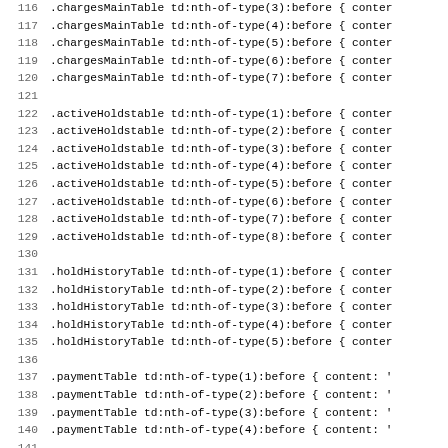Code listing lines 116-147 showing CSS nth-of-type selector rules for chargesMainTable, activeHoldstable, holdHistoryTable, paymentTable, and messagesTable